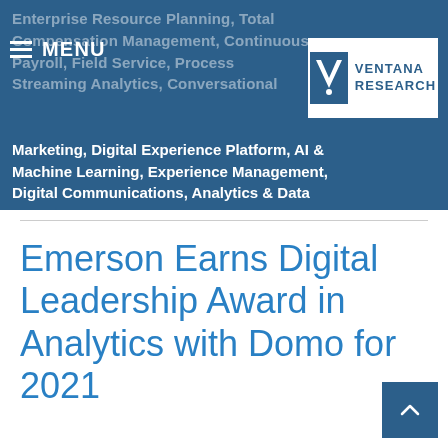Enterprise Resource Planning, Total Compensation Management, Continuous Payroll, Field Service, Process Streaming Analytics, Conversational Marketing, Digital Experience Platform, AI & Machine Learning, Experience Management, Digital Communications, Analytics & Data
[Figure (logo): Ventana Research logo — white V-shaped shield icon with 'VENTANA RESEARCH' text in dark blue on white background]
Emerson Earns Digital Leadership Award in Analytics with Domo for 2021